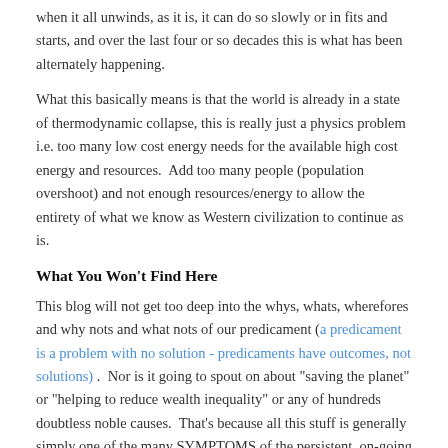when it all unwinds, as it is, it can do so slowly or in fits and starts, and over the last four or so decades this is what has been alternately happening.
What this basically means is that the world is already in a state of thermodynamic collapse, this is really just a physics problem i.e. too many low cost energy needs for the available high cost energy and resources.  Add too many people (population overshoot) and not enough resources/energy to allow the entirety of what we know as Western civilization to continue as is.
What You Won't Find Here
This blog will not get too deep into the whys, whats, wherefores and why nots and what nots of our predicament (a predicament is a problem with no solution - predicaments have outcomes, not solutions) .  Nor is it going to spout on about "saving the planet" or "helping to reduce wealth inequality" or any of hundreds doubtless noble causes.  That's because all this stuff is generally simply one of the many SYMPTOMS of the persistent, on-going collapse that has